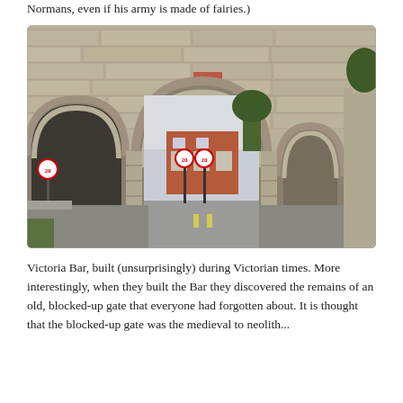Normans, even if his army is made of fairies.)
[Figure (photo): Victoria Bar, a stone medieval-style gate with large arched openings through a thick stone wall. A road passes through the central arch. Red brick buildings and street signs are visible in the background.]
Victoria Bar, built (unsurprisingly) during Victorian times. More interestingly, when they built the Bar they discovered the remains of an old, blocked-up gate that everyone had forgotten about. It is thought that the blocked-up gate was the medieval to neolith...